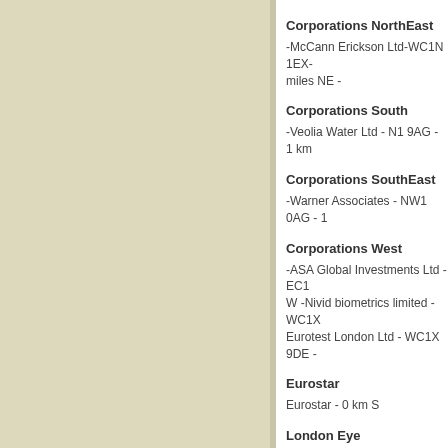Corporations NorthEast
-McCann Erickson Ltd-WC1N 1EX- miles NE -
Corporations South
-Veolia Water Ltd - N1 9AG - 1 km
Corporations SouthEast
-Warner Associates - NW1 0AG - 1
Corporations West
-ASA Global Investments Ltd - EC1 W -Nivid biometrics limited - WC1X Eurotest London Ltd - WC1X 9DE -
Eurostar
Eurostar - 0 km S
London Eye
London Eye-2 miles N It is the talle
London Trafalgar Square